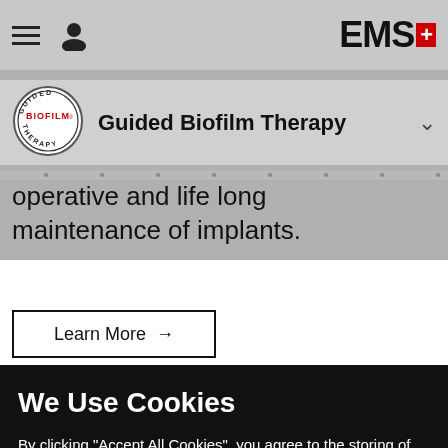EMS+
[Figure (logo): Guided Biofilm Therapy circular logo with BIOFILM in red and GUIDED THERAPY in black text around the circle]
Guided Biofilm Therapy
operative and life long maintenance of implants.
Learn More →
We Use Cookies
By clicking "Accept All Cookies", you agree to the storing of cookies on your device to enhance site navigation, analyze site usage, and assist in our marketing efforts.  Read Our Cookie Policy
Cookies Settings
Accept All Cookies